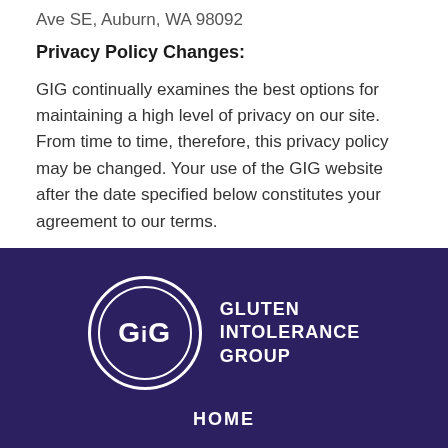Ave SE, Auburn, WA 98092
Privacy Policy Changes:
GIG continually examines the best options for maintaining a high level of privacy on our site. From time to time, therefore, this privacy policy may be changed. Your use of the GIG website after the date specified below constitutes your agreement to our terms.
[Figure (logo): Gluten Intolerance Group logo: circle with GiG text inside, next to the words GLUTEN INTOLERANCE GROUP in white on dark purple background]
HOME